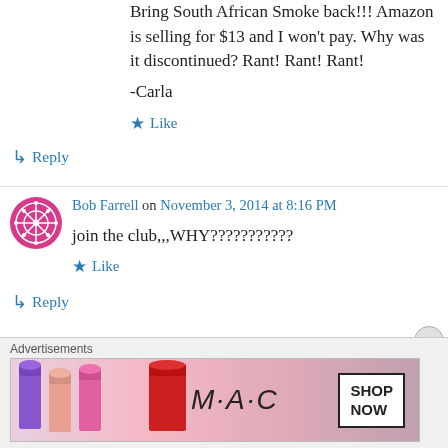Bring South African Smoke back!!! Amazon is selling for $13 and I won't pay. Why was it discontinued? Rant! Rant! Rant!
-Carla
Like
Reply
Bob Farrell on November 3, 2014 at 8:16 PM
join the club,,,WHY???????????
Like
Reply
Advertisements